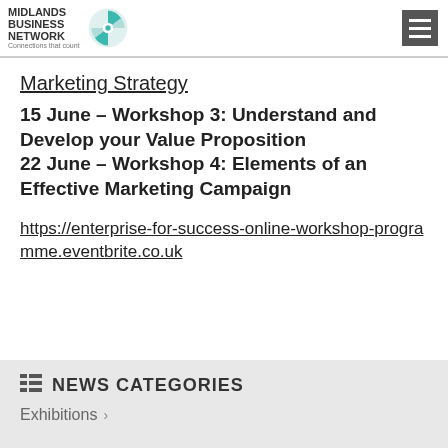Midlands Business Network — Connections that count
Marketing Strategy
15 June – Workshop 3: Understand and Develop your Value Proposition
22 June – Workshop 4: Elements of an Effective Marketing Campaign
https://enterprise-for-success-online-workshop-programme.eventbrite.co.uk
NEWS CATEGORIES
Exhibitions >